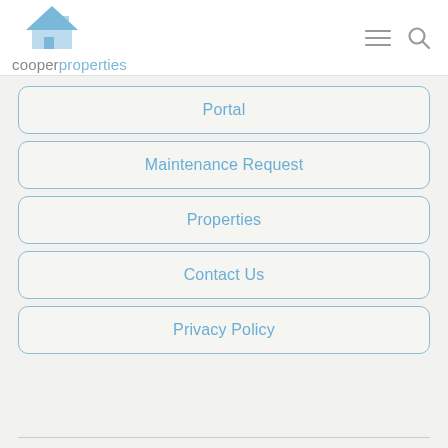[Figure (logo): Cooper Properties logo — blue house icon with roof and door, company name 'cooperproperties' below in grey and blue]
Portal
Maintenance Request
Properties
Contact Us
Privacy Policy